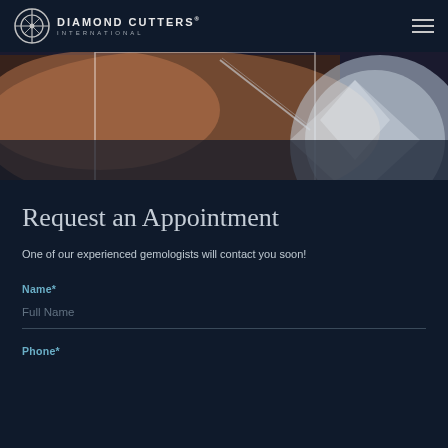[Figure (logo): Diamond Cutters International logo with circular crosshair icon and text]
[Figure (photo): Hero image showing a gemologist examining a diamond, with a large faceted diamond visible]
Request an Appointment
One of our experienced gemologists will contact you soon!
Name*
Full Name
Phone*